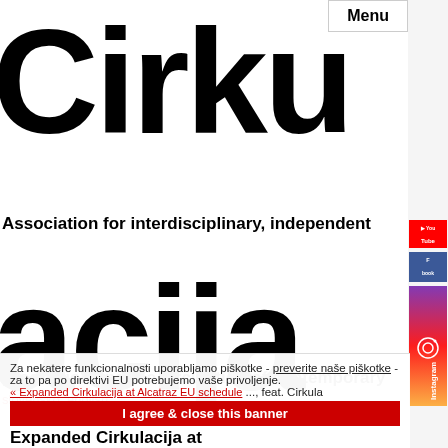Menu
Cirkulacija
Association for interdisciplinary, independent
production and the circulation of contemporary
slovensko english
Za nekatere funkcionalnosti uporabljamo piškotke - preverite naše piškotke - za to pa po direktivi EU potrebujemo vaše privoljenje.
« Expanded Cirkulacija at Alcatraz EU schedule
Expanded Cirkulacija at